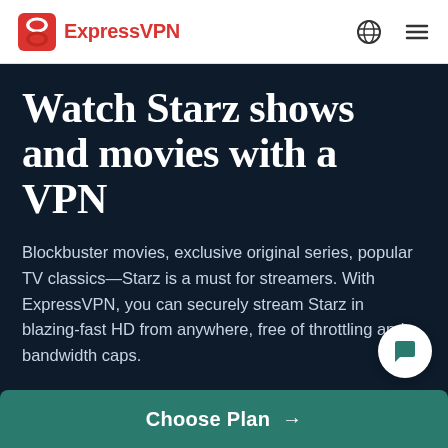ExpressVPN
Watch Starz shows and movies with a VPN
Blockbuster movies, exclusive original series, popular TV classics—Starz is a must for streamers. With ExpressVPN, you can securely stream Starz in blazing-fast HD from anywhere, free of throttling and bandwidth caps.
[Figure (other): Chat/support bubble icon (white circle with speech bubble icon in teal/green)]
Choose Plan →